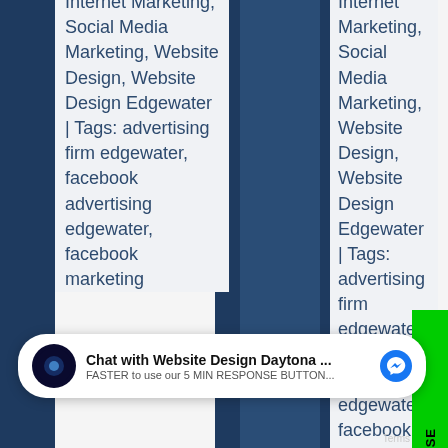Internet Marketing, Social Media Marketing, Website Design, Website Design Edgewater | Tags: advertising firm edgewater, facebook advertising edgewater, facebook marketing edgewater,
Internet Marketing, Social Media Marketing, Website Design, Website Design Edgewater | Tags: advertising firm edgewater, facebook advertising edgewater, facebook marketing edgewater,
[Figure (other): Accessibility wheelchair icon in blue box]
[Figure (other): Green 5 MIN RESPONSE vertical button on right side]
Chat with Website Design Daytona ... FASTER to use our 5 MIN RESPONSE BUTTON...